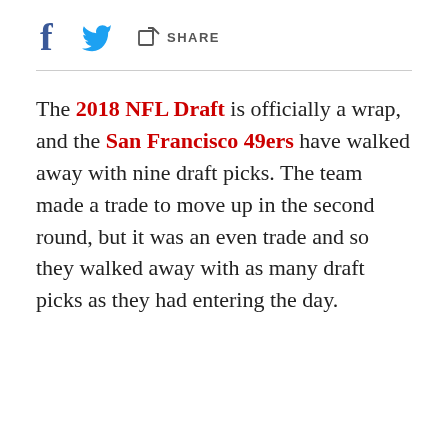[Figure (other): Social share icons row: Facebook 'f' icon, Twitter bird icon, and a share/export icon with the text SHARE]
The 2018 NFL Draft is officially a wrap, and the San Francisco 49ers have walked away with nine draft picks. The team made a trade to move up in the second round, but it was an even trade and so they walked away with as many draft picks as they had entering the day.